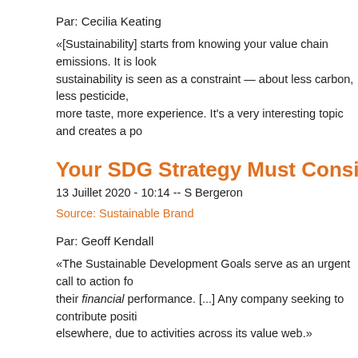Par: Cecilia Keating
«[Sustainability] starts from knowing your value chain emissions. It is looking at sustainability is seen as a constraint — about less carbon, less pesticide, more taste, more experience. It's a very interesting topic and creates a po
Your SDG Strategy Must Consider More Th
13 Juillet 2020 - 10:14 -- S Bergeron
Source: Sustainable Brand
Par: Geoff Kendall
«The Sustainable Development Goals serve as an urgent call to action fo their financial performance. [...] Any company seeking to contribute positi elsewhere, due to activities across its value web.»
Unilever's carbon labeling initiative will drive
13 Juillet 2020 - 09:50 -- S Bergeron